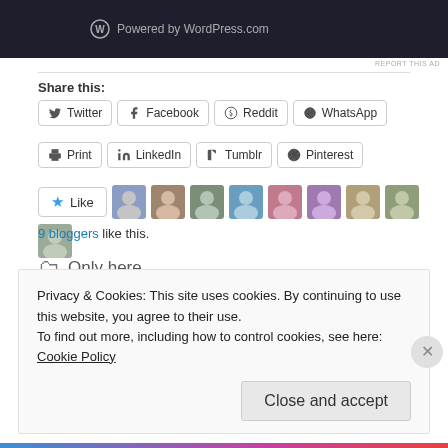[Figure (screenshot): WordPress.com powered banner in dark navy background]
REPORT THIS AD
Share this:
Twitter  Facebook  Reddit  WhatsApp  Print  LinkedIn  Tumblr  Pinterest
[Figure (other): Like button with star and 9 blogger avatar thumbnails]
9 bloggers like this.
Only here
Privacy & Cookies: This site uses cookies. By continuing to use this website, you agree to their use.
To find out more, including how to control cookies, see here: Cookie Policy
Close and accept